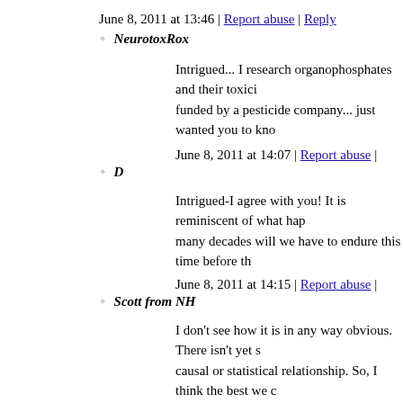June 8, 2011 at 13:46 | Report abuse | Reply
NeurotoxRox
Intrigued... I research organophosphates and their toxici... funded by a pesticide company... just wanted you to kno...
June 8, 2011 at 14:07 | Report abuse |
D
Intrigued-I agree with you! It is reminiscent of what hap... many decades will we have to endure this time before th...
June 8, 2011 at 14:15 | Report abuse |
Scott from NH
I don't see how it is in any way obvious. There isn't yet s... causal or statistical relationship. So, I think the best we c...
June 8, 2011 at 14:30 | Report abuse |
M.
Organophosphates are used a lot in developing countries... diagnosed autism, and with fewer safeguards and less ov... dangerous, and while I agree that we should have a tigh... pesticides, it is very unlikely that they are connected to...